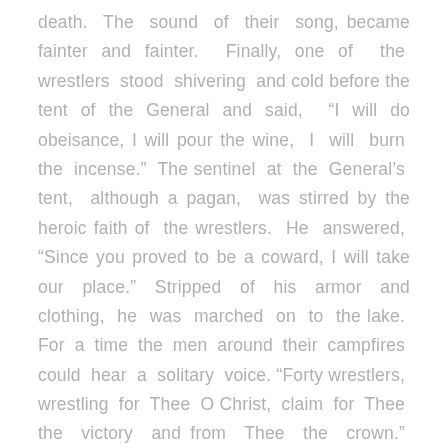death. The sound of their song, became fainter and fainter. Finally, one of the wrestlers stood shivering and cold before the tent of the General and said, “I will do obeisance, I will pour the wine, I will burn the incense.” The sentinel at the General’s tent, although a pagan, was stirred by the heroic faith of the wrestlers. He answered, “Since you proved to be a coward, I will take our place.” Stripped of his armor and clothing, he was marched on to the lake. For a time the men around their campfires could hear a solitary voice. “Forty wrestlers, wrestling for Thee O Christ, claim for Thee the victory and from Thee the crown.” When the sun rose over the Armenian Mountains it looked down upon forty men who had